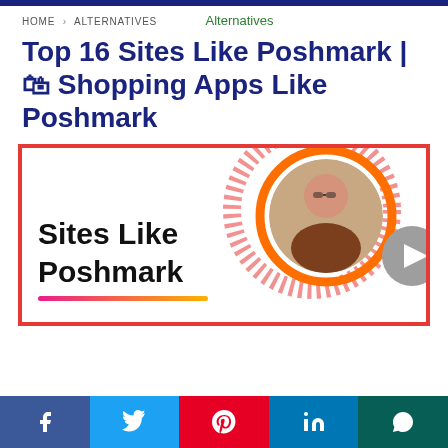HOME › ALTERNATIVES
Alternatives
Top 16 Sites Like Poshmark | 🛍 Shopping Apps Like Poshmark
[Figure (infographic): Promotional banner with red border showing 'Sites Like Poshmark' text in bold black with a pink-to-yellow underline gradient on the left, and a circular photo of a woman wearing glasses holding shopping bags on the right, with an orange ring border and red dotted circle background element, plus a grey play button.]
Social share buttons: Facebook, Twitter, Pinterest, LinkedIn, WhatsApp